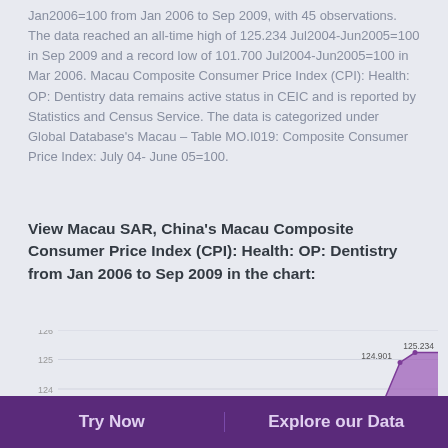Jan2006=100 from Jan 2006 to Sep 2009, with 45 observations. The data reached an all-time high of 125.234 Jul2004-Jun2005=100 in Sep 2009 and a record low of 101.700 Jul2004-Jun2005=100 in Mar 2006. Macau Composite Consumer Price Index (CPI): Health: OP: Dentistry data remains active status in CEIC and is reported by Statistics and Census Service. The data is categorized under Global Database's Macau – Table MO.I019: Composite Consumer Price Index: July 04- June 05=100.
View Macau SAR, China's Macau Composite Consumer Price Index (CPI): Health: OP: Dentistry from Jan 2006 to Sep 2009 in the chart:
[Figure (area-chart): Area chart showing CPI Dentistry values rising sharply near Sep 2009, with y-axis labels 122, 123, 124, 125, 126 and annotated peaks at 124.901 and 125.234]
Try Now    Explore our Data